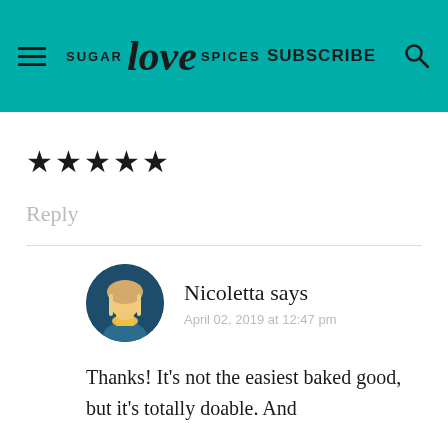SUGAR love SPICES | SUBSCRIBE
★★★★★
Reply
Nicoletta says
April 02, 2019 at 12:47 pm
Thanks! It's not the easiest baked good, but it's totally doable. And